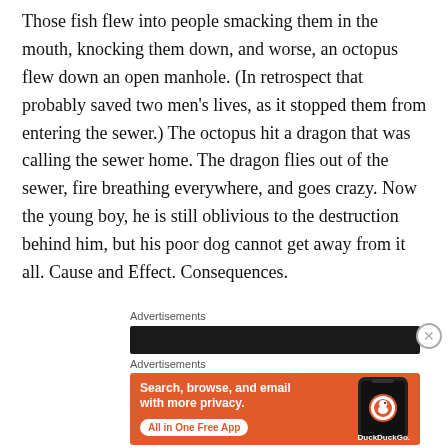Those fish flew into people smacking them in the mouth, knocking them down, and worse, an octopus flew down an open manhole. (In retrospect that probably saved two men's lives, as it stopped them from entering the sewer.) The octopus hit a dragon that was calling the sewer home. The dragon flies out of the sewer, fire breathing everywhere, and goes crazy. Now the young boy, he is still oblivious to the destruction behind him, but his poor dog cannot get away from it all. Cause and Effect. Consequences.
Advertisements
[Figure (screenshot): Dark advertisement banner bar]
Advertisements
[Figure (screenshot): DuckDuckGo advertisement banner: Search, browse, and email with more privacy. All in One Free App. Shows phone with DuckDuckGo logo.]